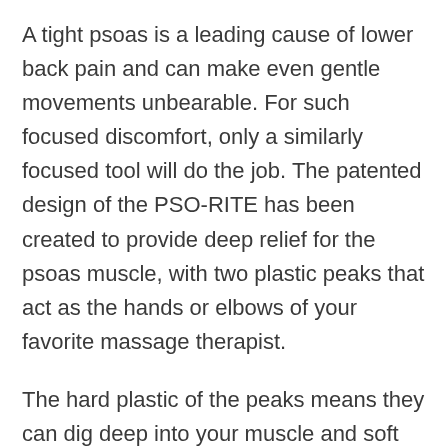A tight psoas is a leading cause of lower back pain and can make even gentle movements unbearable. For such focused discomfort, only a similarly focused tool will do the job. The patented design of the PSO-RITE has been created to provide deep relief for the psoas muscle, with two plastic peaks that act as the hands or elbows of your favorite massage therapist.
The hard plastic of the peaks means they can dig deep into your muscle and soft tissue, accessing trigger points, tension, and knots that conventional tools might miss.
Also, unlike most other massage devices, the PSO-RITE is able to reach your psoas muscle on both sides of your body at once. This bilateral design means maximum